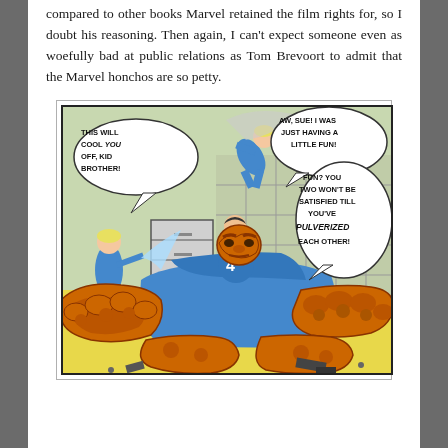compared to other books Marvel retained the film rights for, so I doubt his reasoning. Then again, I can't expect someone even as woefully bad at public relations as Tom Brevoort to admit that the Marvel honchos are so petty.
[Figure (illustration): A vintage Fantastic Four comic book panel showing The Thing sitting wrapped in blue fabric with massive orange rocky hands and feet in the foreground, Mr. Fantastic standing behind him, and in the background Sue Storm shooting water at the Human Torch who is flying. Speech bubbles read: 'THIS WILL COOL YOU OFF, KID BROTHER!', 'AW, SUE! I WAS JUST HAVING A LITTLE FUN!', and 'FUN? YOU TWO WON'T BE SATISFIED TILL YOU'VE PULVERIZED EACH OTHER!']